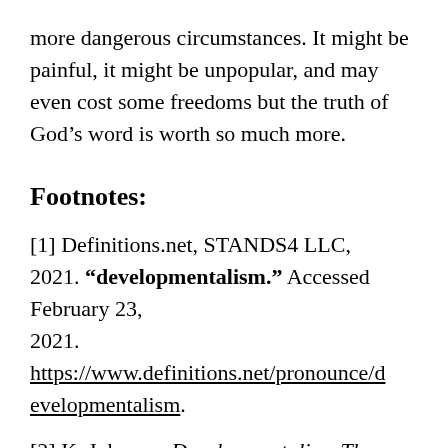more dangerous circumstances. It might be painful, it might be unpopular, and may even cost some freedoms but the truth of God’s word is worth so much more.
Footnotes:
[1] Definitions.net, STANDS4 LLC, 2021. “developmentalism.” Accessed February 23, 2021. https://www.definitions.net/pronounce/developmentalism.
[2] K. Johnson, Developmentalism Then and Now: The Origins and Resurgence of an Enduring Grand Theory. In: Wiarda H.J. (eds) Grand Theories and Ideologies in the Social